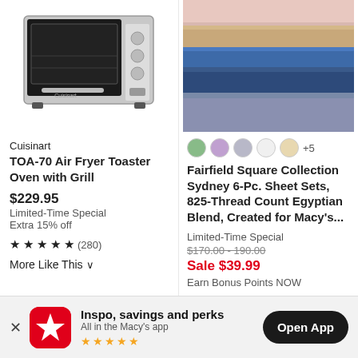[Figure (photo): Cuisinart TOA-70 Air Fryer Toaster Oven with Grill product photo]
[Figure (photo): Stacked bed sheet sets in multiple colors (blue, tan, white, grey)]
Cuisinart
TOA-70 Air Fryer Toaster Oven with Grill
$229.95
Limited-Time Special
Extra 15% off
★ ★ ★ ★ ★ (280)
More Like This ∨
[Figure (illustration): Color swatches: green, purple, grey, white, cream + +5 more]
Fairfield Square Collection Sydney 6-Pc. Sheet Sets, 825-Thread Count Egyptian Blend, Created for Macy's...
Limited-Time Special
$170.00 - 190.00
Sale $39.99
Earn Bonus Points NOW
Inspo, savings and perks
All in the Macy's app
Open App